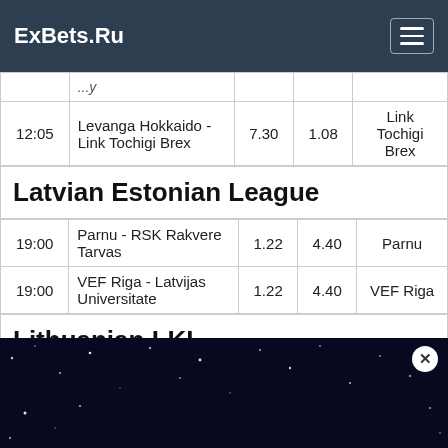ExBets.Ru
| Time | Match | Odd1 | Odd2 | Pick |
| --- | --- | --- | --- | --- |
| 12:05 | Levanga Hokkaido - Link Tochigi Brex | 7.30 | 1.08 | Link Tochigi Brex |
Latvian Estonian League
| Time | Match | Odd1 | Odd2 | Pick |
| --- | --- | --- | --- | --- |
| 19:00 | Parnu - RSK Rakvere Tarvas | 1.22 | 4.40 | Parnu |
| 19:00 | VEF Riga - Latvijas Universitate | 1.22 | 4.40 | VEF Riga |
Lithuanian LKL
[Figure (screenshot): Advertisement banner for 1XSTAVKA betting site with dark blue starry background and cyan colored text]